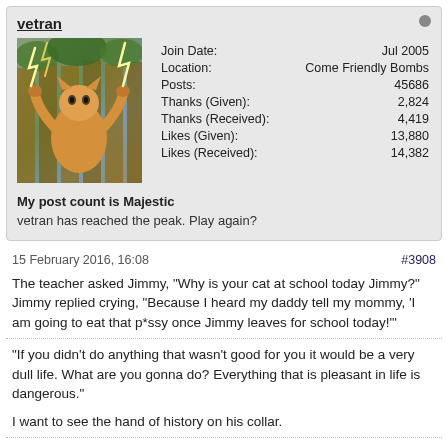vetran
[Figure (photo): Avatar photo of a cat with lightning bolts]
| Join Date: | Jul 2005 |
| Location: | Come Friendly Bombs |
| Posts: | 45686 |
| Thanks (Given): | 2,824 |
| Thanks (Received): | 4,419 |
| Likes (Given): | 13,880 |
| Likes (Received): | 14,382 |
My post count is Majestic
vetran has reached the peak. Play again?
15 February 2016, 16:08
#3908
The teacher asked Jimmy, "Why is your cat at school today Jimmy?" Jimmy replied crying, "Because I heard my daddy tell my mommy, 'I am going to eat that p*ssy once Jimmy leaves for school today!'"
"If you didn't do anything that wasn't good for you it would be a very dull life. What are you gonna do? Everything that is pleasant in life is dangerous."

I want to see the hand of history on his collar.